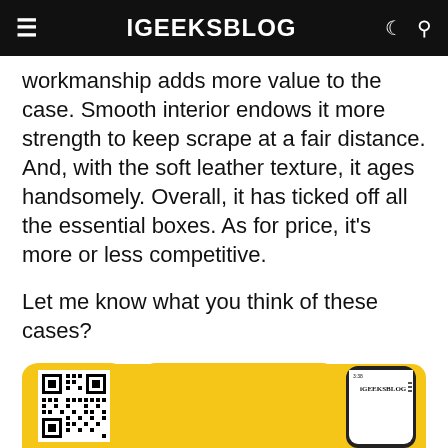iGEEKSBLOG
workmanship adds more value to the case. Smooth interior endows it more strength to keep scrape at a fair distance. And, with the soft leather texture, it ages handsomely. Overall, it has ticked off all the essential boxes. As for price, it’s more or less competitive.
Let me know what you think of these cases?
iPhone X
iPhone X Accessories
[Figure (other): iGeeksBlog app promotional banner with yellow background, QR code on left and iPhone screenshot on right showing the iGeeksBlog app]